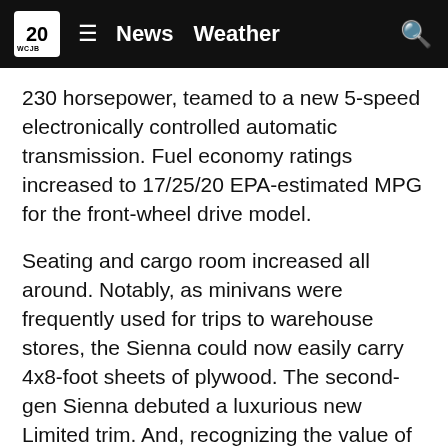20 WCJB ≡ News  Weather 🔍
230 horsepower, teamed to a new 5-speed electronically controlled automatic transmission. Fuel economy ratings increased to 17/25/20 EPA-estimated MPG for the front-wheel drive model.
Seating and cargo room increased all around. Notably, as minivans were frequently used for trips to warehouse stores, the Sienna could now easily carry 4x8-foot sheets of plywood. The second-gen Sienna debuted a luxurious new Limited trim. And, recognizing the value of keeping passengers entertained, Toyota offered an optional rear-seat DVD entertainment system with two 110V outlets.
In the safety category, side curtain airbags, optional on certain 2004-2005 trims, became standard on all for 2006. Vehicle Stability Control was made standard for all models in 2008. Continuous evolution brought new features such